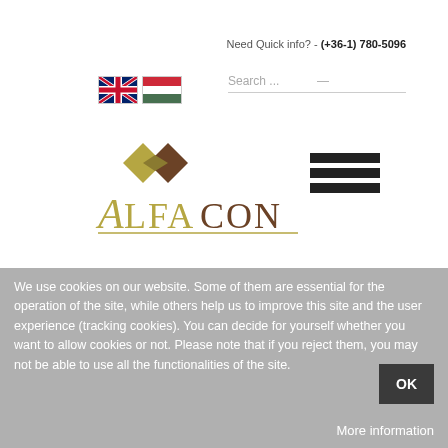Need Quick info?  -  (+36-1) 780-5096
[Figure (screenshot): AlfaCon website header with UK and Hungarian flags, search bar, AlfaCon logo with diamond icon, and hamburger menu]
We use cookies on our website. Some of them are essential for the operation of the site, while others help us to improve this site and the user experience (tracking cookies). You can decide for yourself whether you want to allow cookies or not. Please note that if you reject them, you may not be able to use all the functionalities of the site.
OK
More information